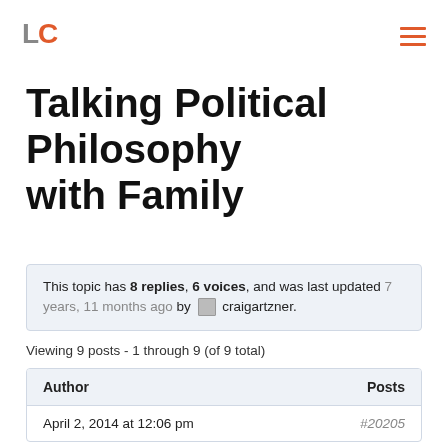LC (logo)
Talking Political Philosophy with Family
This topic has 8 replies, 6 voices, and was last updated 7 years, 11 months ago by craigartzner.
Viewing 9 posts - 1 through 9 (of 9 total)
| Author | Posts |
| --- | --- |
| April 2, 2014 at 12:06 pm | #20205 |